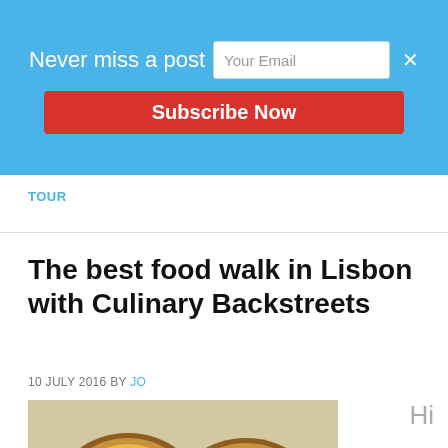Never miss a post   [Your Email input]   ×
Subscribe Now
TOUR
The best food walk in Lisbon with Culinary Backstreets
10 JULY 2016 BY JO
[Figure (photo): Close-up photo of Portuguese pastéis de nata (custard tarts) with burnt caramel tops on white paper]
Hi